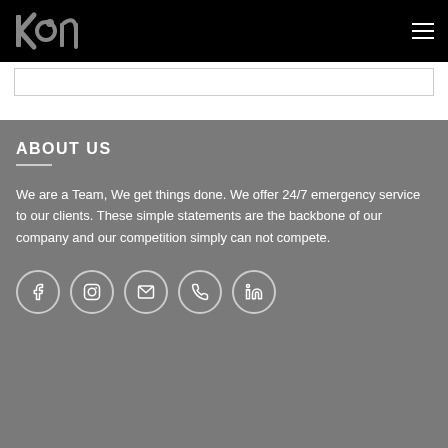[Figure (logo): KoN stylized logo in white on black background, with hamburger menu icon on right]
ABOUT US
We are a Team, We get things done. We offer 24/7 emergency service to our clients. These simple statements are the backbone of our company and our competition simply can not compete.
[Figure (infographic): Row of 5 social media icons in circles: Facebook, Instagram, Email, Phone, LinkedIn]